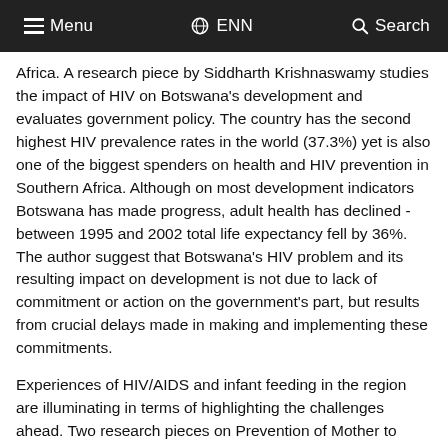Menu  ENN  Search
Africa. A research piece by Siddharth Krishnaswamy studies the impact of HIV on Botswana's development and evaluates government policy. The country has the second highest HIV prevalence rates in the world (37.3%) yet is also one of the biggest spenders on health and HIV prevention in Southern Africa. Although on most development indicators Botswana has made progress, adult health has declined - between 1995 and 2002 total life expectancy fell by 36%. The author suggest that Botswana's HIV problem and its resulting impact on development is not due to lack of commitment or action on the government's part, but results from crucial delays made in making and implementing these commitments.
Experiences of HIV/AIDS and infant feeding in the region are illuminating in terms of highlighting the challenges ahead. Two research pieces on Prevention of Mother to Child Transmission (PMTCT) programming in Botswana illustrate just how vulnerable infants who are not breastfed are in resource-limited settings. In the MASHI study from Botswana, infants who were breastfed had a higher HIV transmission rate but a lower mortality rate at 7 months than infants who were formula fed. Both feeding strategies had comparable HIV-free survival at 18 months. The risks of not breastfeeding were critically exposed when flooding in early 2006